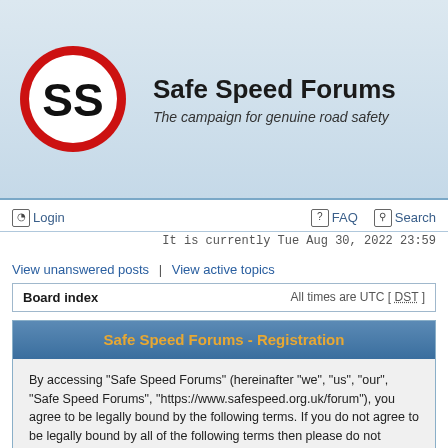[Figure (logo): Safe Speed Forums logo: red circle with white interior and bold black SS letters, resembling a speed limit sign]
Safe Speed Forums
The campaign for genuine road safety
Login | FAQ | Search
It is currently Tue Aug 30, 2022 23:59
View unanswered posts | View active topics
Board index    All times are UTC [ DST ]
Safe Speed Forums - Registration
By accessing “Safe Speed Forums” (hereinafter “we”, “us”, “our”, “Safe Speed Forums”, “https://www.safespeed.org.uk/forum”), you agree to be legally bound by the following terms. If you do not agree to be legally bound by all of the following terms then please do not access and/or use “Safe Speed Forums”. We may change these at any time and we’ll do our utmost in informing you, though it would be prudent to review this regularly yourself as your continued usage of “Safe Speed Forums” after changes mean you agree to be legally bound by these terms as they are updated and/or amended.
Our forums are powered by phpBB (hereinafter “they”, “them”, “their”, “phpBB software”, “www.phpbb.com”, “phpBB Group”, “phpBB Teams”) which is a bulletin board solution released under the